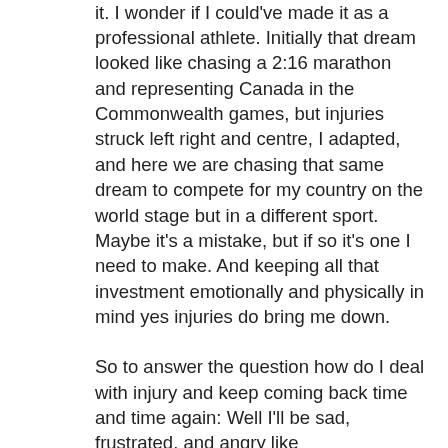it. I wonder if I could've made it as a professional athlete. Initially that dream looked like chasing a 2:16 marathon and representing Canada in the Commonwealth games, but injuries struck left right and centre, I adapted, and here we are chasing that same dream to compete for my country on the world stage but in a different sport. Maybe it's a mistake, but if so it's one I need to make. And keeping all that investment emotionally and physically in mind yes injuries do bring me down.
So to answer the question how do I deal with injury and keep coming back time and time again: Well I'll be sad, frustrated, and angry like